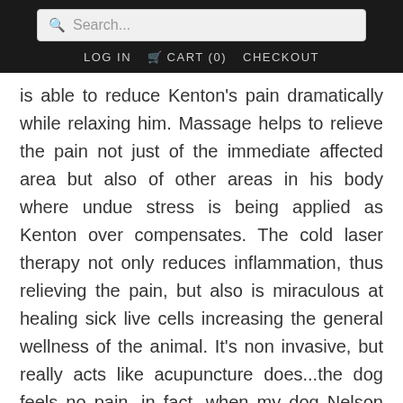Search... | LOG IN | CART (0) | CHECKOUT
is able to reduce Kenton's pain dramatically while relaxing him. Massage helps to relieve the pain not just of the immediate affected area but also of other areas in his body where undue stress is being applied as Kenton over compensates. The cold laser therapy not only reduces inflammation, thus relieving the pain, but also is miraculous at healing sick live cells increasing the general wellness of the animal. It's non invasive, but really acts like acupuncture does...the dog feels no pain, in fact, when my dog Nelson had this treatment, he fell asleep as it was being done!
Dr Connoly who specialises in chiropractic medicine and acupuncture has performed